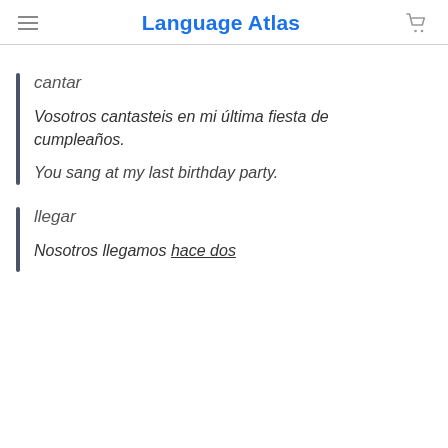Language Atlas
cantar
Vosotros cantasteis en mi última fiesta de cumpleaños.
You sang at my last birthday party.
llegar
Nosotros llegamos hace dos